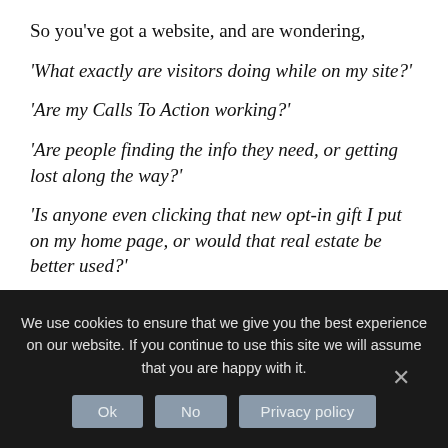So you've got a website, and are wondering,
'What exactly are visitors doing while on my site?'
'Are my Calls To Action working?'
'Are people finding the info they need, or getting lost along the way?'
'Is anyone even clicking that new opt-in gift I put on my home page, or would that real estate be better used?'
All very smart question to ask there friend!
We use cookies to ensure that we give you the best experience on our website. If you continue to use this site we will assume that you are happy with it.